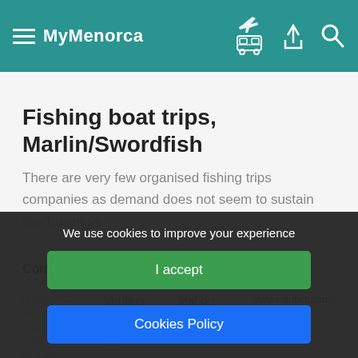MyMenorca
Fishing boat trips, Marlin/Swordfish
There are very few organised fishing trips companies as demand does not seem to sustain this business.
| Company | Services | Location |
| --- | --- | --- |
| NAUTIC FUN | Various inshore to deep | Mahon | www.nauticfunmen... |
We use cookies to improve your experience
I accept
Cookies Policy